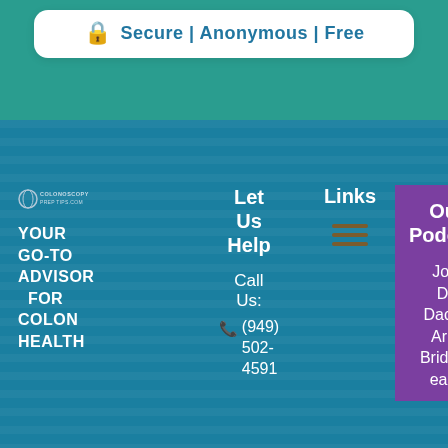Secure | Anonymous | Free
Let Us Help
Call Us: (949) 502-4591
Links
Our Podcast
YOUR GO-TO ADVISOR FOR COLON HEALTH
Join Dr. Dac or Ariel Bridges each